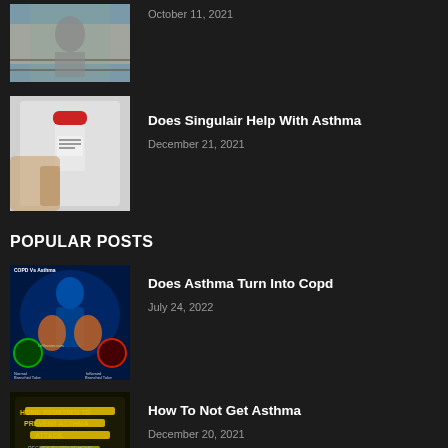[Figure (photo): Partial top image of person in classroom putting on a face mask]
October 11, 2021
[Figure (photo): Person holding an inhaler/medication bottle close to mouth]
Does Singulair Help With Asthma
December 21, 2021
POPULAR POSTS
[Figure (photo): COPD vs Asthma medical illustration showing bronchial tubes and lungs on blue background]
Does Asthma Turn Into Copd
July 24, 2022
[Figure (photo): Home remedies to prevent asthma attack illustration with yellow text on dark background]
How To Not Get Asthma
December 20, 2021
[Figure (photo): Partial bottom image - light colored background with skin-toned shapes]